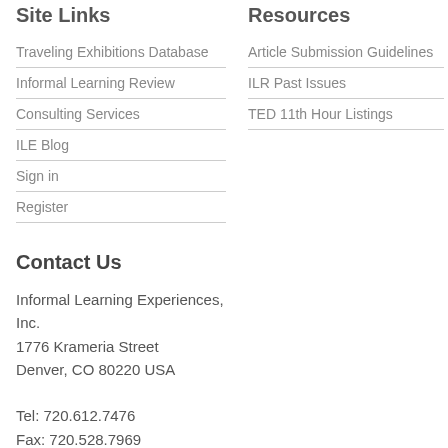Site Links
Traveling Exhibitions Database
Informal Learning Review
Consulting Services
ILE Blog
Sign in
Register
Resources
Article Submission Guidelines
ILR Past Issues
TED 11th Hour Listings
Contact Us
Informal Learning Experiences, Inc.
1776 Krameria Street
Denver, CO 80220 USA

Tel: 720.612.7476
Fax: 720.528.7969